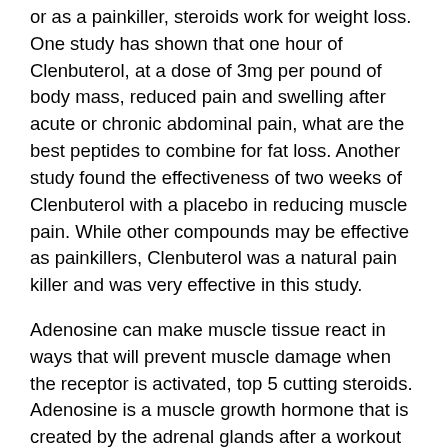or as a painkiller, steroids work for weight loss. One study has shown that one hour of Clenbuterol, at a dose of 3mg per pound of body mass, reduced pain and swelling after acute or chronic abdominal pain, what are the best peptides to combine for fat loss. Another study found the effectiveness of two weeks of Clenbuterol with a placebo in reducing muscle pain. While other compounds may be effective as painkillers, Clenbuterol was a natural pain killer and was very effective in this study.
Adenosine can make muscle tissue react in ways that will prevent muscle damage when the receptor is activated, top 5 cutting steroids. Adenosine is a muscle growth hormone that is created by the adrenal glands after a workout and stimulates the growth of new muscle tissue throughout the body. Adenosine also helps to keep the muscle fibers in the connective tissue from